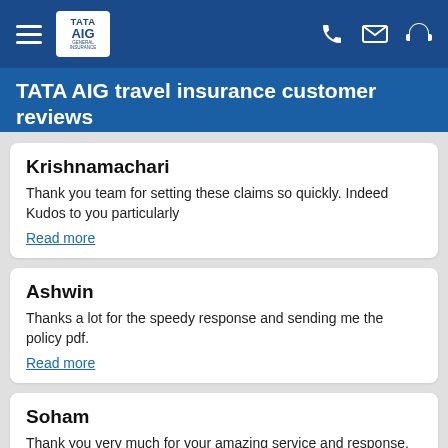TATA AIG (navigation bar with hamburger menu, logo, phone, email, headset icons)
TATA AIG travel insurance customer reviews
Krishnamachari
Thank you team for setting these claims so quickly. Indeed Kudos to you particularly
Read more
Ashwin
Thanks a lot for the speedy response and sending me the policy pdf.
Read more
Soham
Thank you very much for your amazing service and response.
Read more